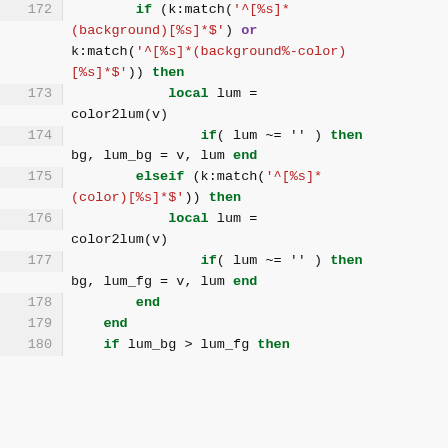Code listing lines 172-180, Lua source code with syntax highlighting